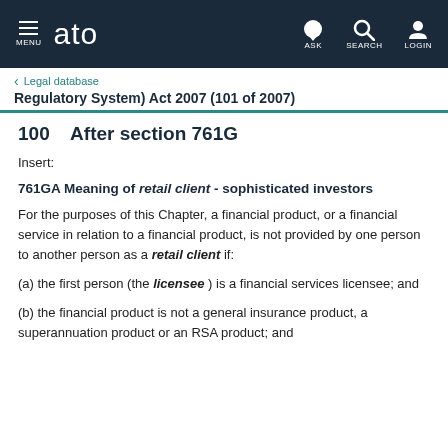ato — MENU | ASK | SEARCH | LOGIN
Legal database
Regulatory System) Act 2007 (101 of 2007)
100   After section 761G
Insert:
761GA Meaning of retail client - sophisticated investors
For the purposes of this Chapter, a financial product, or a financial service in relation to a financial product, is not provided by one person to another person as a retail client if:
(a) the first person (the licensee ) is a financial services licensee; and
(b) the financial product is not a general insurance product, a superannuation product or an RSA product; and